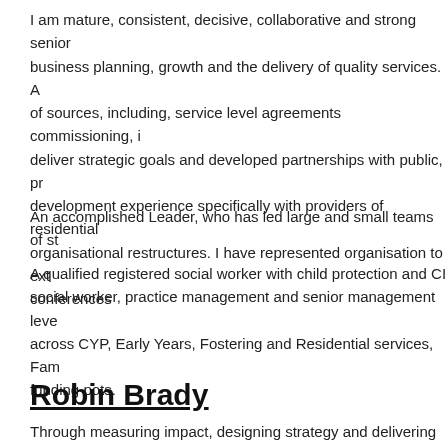I am mature, consistent, decisive, collaborative and strong senior business planning, growth and the delivery of quality services. A of sources, including, service level agreements commissioning, i deliver strategic goals and developed partnerships with public, pr development experience specifically with providers of residential organisational restructures. I have represented organisation to ext conferences
An accomplished Leader, who has led large and small teams of st
A qualified registered social worker with child protection and CI social worker, practice management and senior management leve across CYP, Early Years, Fostering and Residential services, Fam funding pots.
Robin Brady
Through measuring impact, designing strategy and delivering org Organisations to improve the effect they have on the social fabri